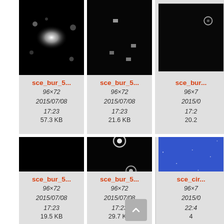[Figure (screenshot): File browser grid showing astronomical image thumbnails with metadata. Row 1: three cards (sce_bur_5..., sce_bur_5..., sce_bur...) each 96x72, 2015/07/08 17:23, sizes 57.3 KB, 21.6 KB, 20.2... Row 2: three cards (sce_bur_5..., sce_bur_5..., sce_cir...) each 96x72, 2015/07/08 17:23, sizes 19.5 KB, 29.7 KB, 4...]